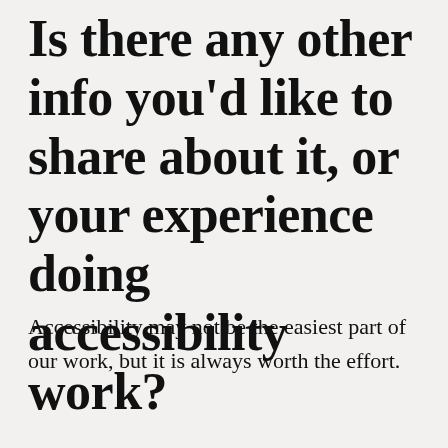Is there any other info you'd like to share about it, or your experience doing accessibility work?
Accessibility may not be the easiest part of our work, but it is always worth the effort.